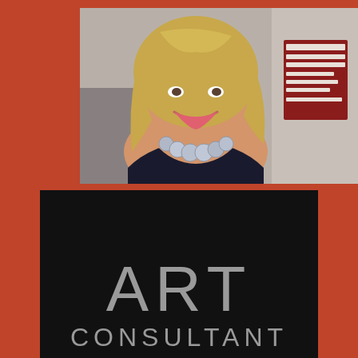[Figure (photo): Portrait photo of a smiling woman with blonde hair wearing a black off-shoulder top and a light blue/grey beaded necklace, photographed outdoors in front of a building with a red sign.]
ART CONSULTANT